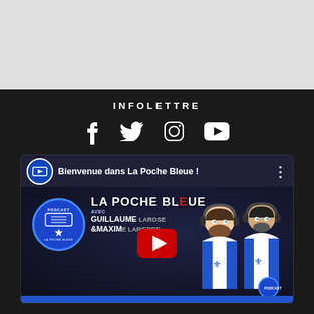[Figure (illustration): Top gray background area, part of a web page screenshot]
INFOLETTRE
[Figure (illustration): Row of social media icons: Facebook, Twitter, Instagram, YouTube on dark background]
[Figure (screenshot): YouTube video thumbnail for 'Bienvenue dans La Poche Bleue!' podcast, showing two animated characters wearing Quebec hockey jerseys and headphones, with the podcast logo and text 'La Poche Bleue avec Guillaume [Larose] & Maxim[e Lapierre]', red YouTube play button in center, blue bar at bottom.]